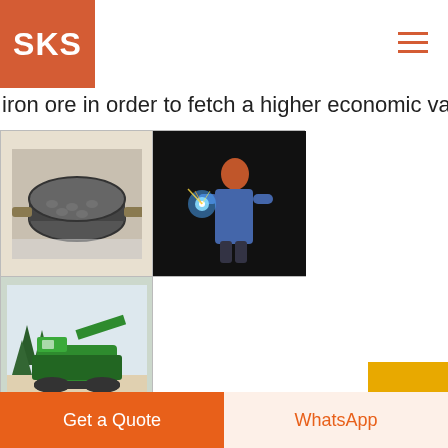[Figure (logo): SKS logo white text on orange/red square background]
[Figure (illustration): Hamburger menu icon in orange/red, top-right of header]
iron ore in order to fetch a higher economic value B
[Figure (photo): Industrial roller/drum equipment in a factory setting]
[Figure (photo): Worker welding with bright blue arc light in dark industrial setting]
[Figure (photo): Green mobile crushing/mining equipment outdoors in snowy/rocky terrain]
NSL Indian Iron Ore Project Locations NSL Consolic
[Figure (illustration): Scroll-to-top arrow button on yellow/gold background]
Get a Quote
WhatsApp